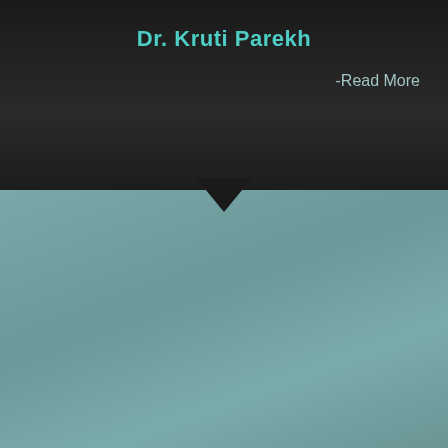[Figure (illustration): Dark background top section with teal/muted green bottom section separated by a downward-pointing arrow shape. Top section is near-black gradient. Bottom section is a muted teal gradient. A dark downward chevron/arrow divides the two sections at roughly the midpoint.]
Dr. Kruti Parekh
-Read More